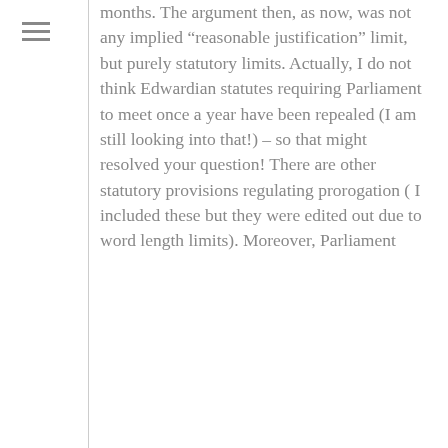months. The argument then, as now, was not any implied “reasonable justification” limit, but purely statutory limits. Actually, I do not think Edwardian statutes requiring Parliament to meet once a year have been repealed (I am still looking into that!) – so that might resolved your question! There are other statutory provisions regulating prorogation ( I included these but they were edited out due to word length limits). Moreover, Parliament